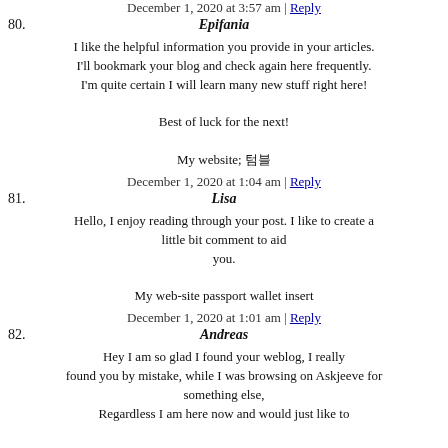December 1, 2020 at 3:57 am | Reply
80. Epifania
I like the helpful information you provide in your articles. I'll bookmark your blog and check again here frequently. I'm quite certain I will learn many new stuff right here!

Best of luck for the next!

My website; 텀블
December 1, 2020 at 1:04 am | Reply
81. Lisa
Hello, I enjoy reading through your post. I like to create a little bit comment to aid you.

My web-site passport wallet insert
December 1, 2020 at 1:01 am | Reply
82. Andreas
Hey I am so glad I found your weblog, I really found you by mistake, while I was browsing on Askjeeve for something else,
Regardless I am here now and would just like to